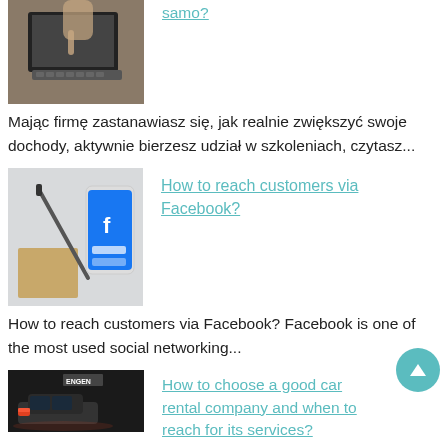[Figure (photo): Hands typing on a laptop keyboard viewed from above]
samo?
Mając firmę zastanawiasz się, jak realnie zwiększyć swoje dochody, aktywnie bierzesz udział w szkoleniach, czytasz...
[Figure (photo): Smartphone showing Facebook login page next to a pen and notebook]
How to reach customers via Facebook?
How to reach customers via Facebook? Facebook is one of the most used social networking...
[Figure (photo): Car at night with Engen signage in background]
How to choose a good car rental company and when to reach for its services?